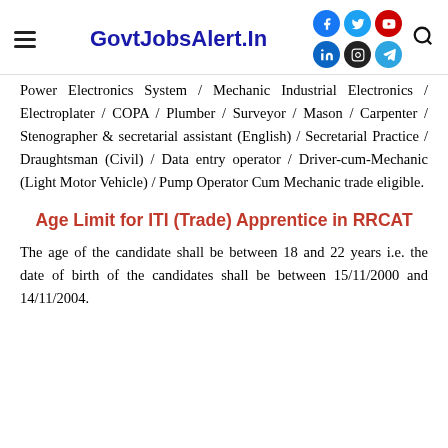GovtJobsAlert.In
Power Electronics System / Mechanic Industrial Electronics / Electroplater / COPA / Plumber / Surveyor / Mason / Carpenter / Stenographer & secretarial assistant (English) / Secretarial Practice / Draughtsman (Civil) / Data entry operator / Driver-cum-Mechanic (Light Motor Vehicle) / Pump Operator Cum Mechanic trade eligible.
Age Limit for ITI (Trade) Apprentice in RRCAT
The age of the candidate shall be between 18 and 22 years i.e. the date of birth of the candidates shall be between 15/11/2000 and 14/11/2004.